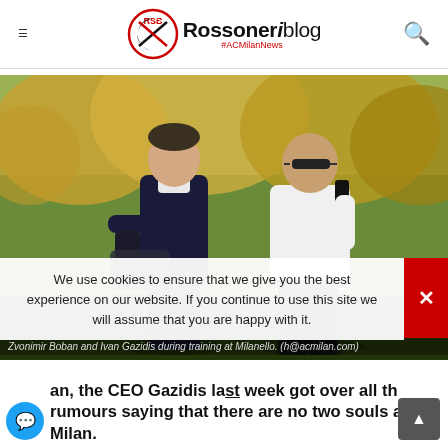Rossoneri blog #ACMilanNews
[Figure (photo): Two men walking outdoors at Milanello training ground — Zvonimir Boban and Ivan Gazidis]
Zvonimir Boban and Ivan Gazidis during training at Milanello. (h@acmilan.com)
We use cookies to ensure that we give you the best experience on our website. If you continue to use this site we will assume that you are happy with it.
an, the CEO Gazidis last week got over all the rumours saying that there are no two souls at Milan.